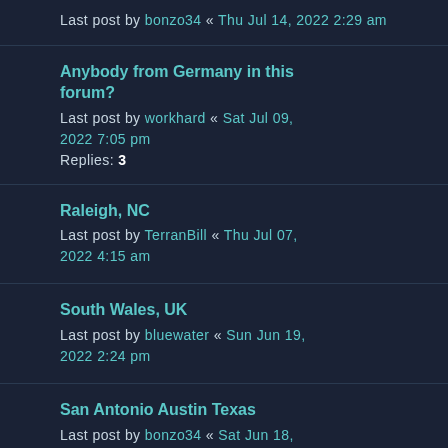Last post by bonzo34 « Thu Jul 14, 2022 2:29 am
Anybody from Germany in this forum?
Last post by workhard « Sat Jul 09, 2022 7:05 pm
Replies: 3
Raleigh, NC
Last post by TerranBill « Thu Jul 07, 2022 4:15 am
South Wales, UK
Last post by bluewater « Sun Jun 19, 2022 2:24 pm
San Antonio Austin Texas
Last post by bonzo34 « Sat Jun 18, 2022 10:13 pm